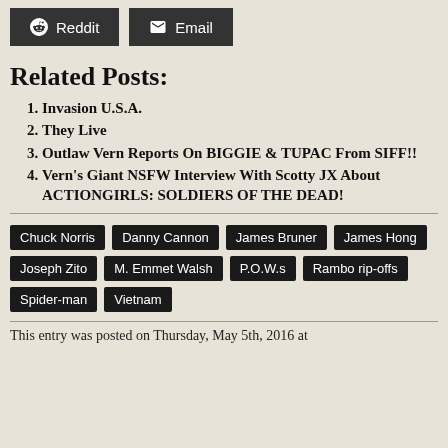[Figure (other): Share buttons: Reddit and Email]
Related Posts:
Invasion U.S.A.
They Live
Outlaw Vern Reports On BIGGIE & TUPAC From SIFF!!
Vern's Giant NSFW Interview With Scotty JX About ACTIONGIRLS: SOLDIERS OF THE DEAD!
Chuck Norris   Danny Cannon   James Bruner   James Hong   Joseph Zito   M. Emmet Walsh   P.O.W.s   Rambo rip-offs   Spider-man   Vietnam
This entry was posted on Thursday, May 5th, 2016 at